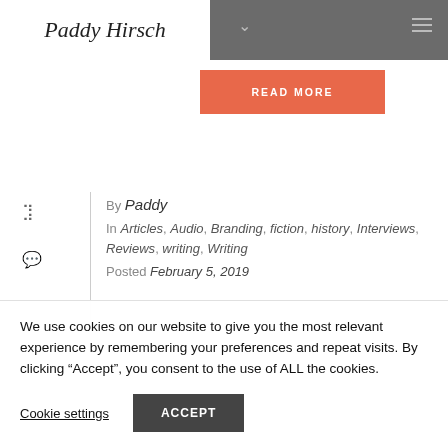Paddy Hirsch
[Figure (screenshot): READ MORE button in orange/coral color]
By Paddy
In Articles, Audio, Branding, fiction, history, Interviews, Reviews, writing, Writing
Posted February 5, 2019
We use cookies on our website to give you the most relevant experience by remembering your preferences and repeat visits. By clicking “Accept”, you consent to the use of ALL the cookies.
Cookie settings  ACCEPT